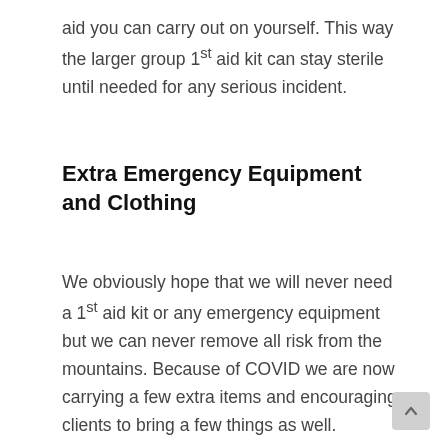aid you can carry out on yourself. This way the larger group 1st aid kit can stay sterile until needed for any serious incident.
Extra Emergency Equipment and Clothing
We obviously hope that we will never need a 1st aid kit or any emergency equipment but we can never remove all risk from the mountains. Because of COVID we are now carrying a few extra items and encouraging clients to bring a few things as well.